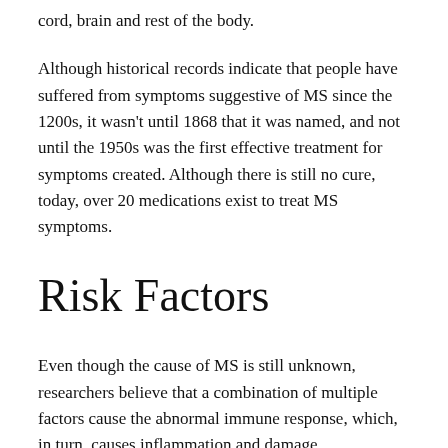cord, brain and rest of the body.
Although historical records indicate that people have suffered from symptoms suggestive of MS since the 1200s, it wasn't until 1868 that it was named, and not until the 1950s was the first effective treatment for symptoms created. Although there is still no cure, today, over 20 medications exist to treat MS symptoms.
Risk Factors
Even though the cause of MS is still unknown, researchers believe that a combination of multiple factors cause the abnormal immune response, which, in turn, causes inflammation and damage.
These factors include: